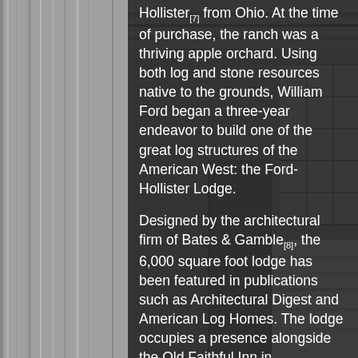[Figure (photo): Black and white photograph of a log lodge interior showing wooden walls, large windows with grid panes, and structural beams]
Hollister[7] from Ohio. At the time of purchase, the ranch was a thriving apple orchard. Using both log and stone resources native to the grounds, William Ford began a three-year endeavor to build one of the great log structures of the American West: the Ford-Hollister Lodge.

Designed by the architectural firm of Bates & Gamble[8], the 6,000 square foot lodge has been featured in publications such as Architectural Digest and American Log Homes. The lodge occupies a presence alongside the Old Faithful Inn in